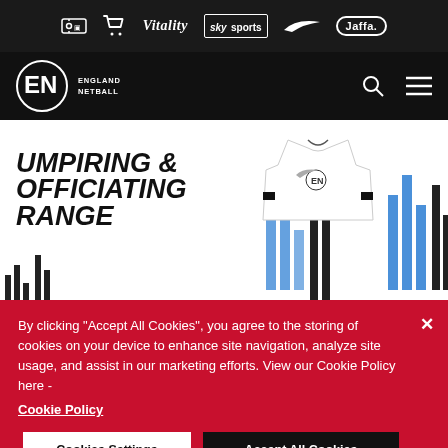Sponsors bar: ticket icon, cart icon, Vitality, sky sports, Nike, Jaffa
[Figure (logo): England Netball logo with EN initials in a circle]
UMPIRING & OFFICIATING RANGE
[Figure (photo): White Nike polo shirt with England Netball logo and decorative bar chart graphic elements in blue and black]
By clicking "Accept All Cookies", you agree to the storing of cookies on your device to enhance site navigation, analyze site usage, and assist in our marketing efforts. View our Cookie Policy here -
Cookie Policy
Cookies Settings
Accept All Cookies